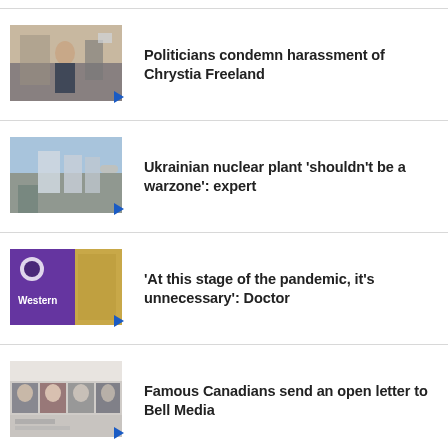[Figure (photo): Thumbnail image of indoor scene with person, news story about Freeland harassment]
Politicians condemn harassment of Chrystia Freeland
[Figure (photo): Thumbnail image of buildings under blue sky, Ukrainian nuclear plant story]
Ukrainian nuclear plant 'shouldn't be a warzone': expert
[Figure (photo): Thumbnail image of Western University purple banner]
'At this stage of the pandemic, it's unnecessary': Doctor
[Figure (photo): Thumbnail image of grid of Canadian celebrities/faces, Bell Media open letter]
Famous Canadians send an open letter to Bell Media